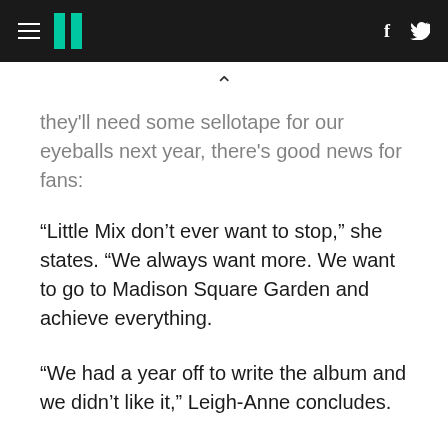HuffPost header with hamburger menu, logo, facebook and twitter icons
they'll need some sellotape for our eyeballs next year, there's good news for fans:
“Little Mix don’t ever want to stop,” she states. “We always want more. We want to go to Madison Square Garden and achieve everything.
“We had a year off to write the album and we didn’t like it,” Leigh-Anne concludes.
Phew!
‘Get Weird’ is out on Friday, 6 November